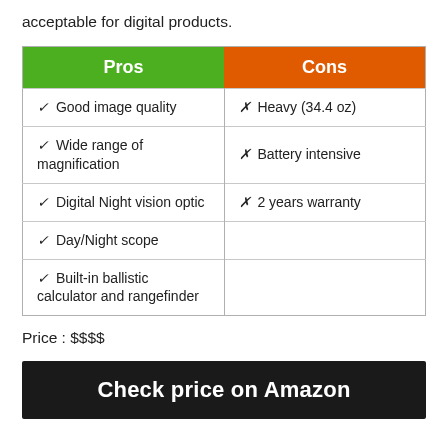acceptable for digital products.
| Pros | Cons |
| --- | --- |
| ✓ Good image quality | ✗ Heavy (34.4 oz) |
| ✓ Wide range of magnification | ✗ Battery intensive |
| ✓ Digital Night vision optic | ✗ 2 years warranty |
| ✓ Day/Night scope |  |
| ✓ Built-in ballistic calculator and rangefinder |  |
Price : $$$$
Check price on Amazon